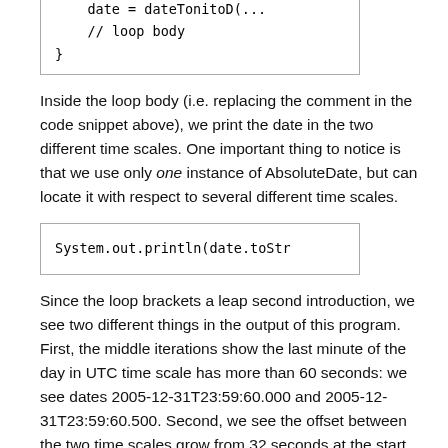[Figure (screenshot): Code snippet showing partial loop body with 'date = dateToUnitoDy(...)' and '// loop body' and closing brace]
Inside the loop body (i.e. replacing the comment in the code snippet above), we print the date in the two different time scales. One important thing to notice is that we use only one instance of AbsoluteDate, but can locate it with respect to several different time scales.
[Figure (screenshot): Code snippet showing: System.out.println(date.toStr]
Since the loop brackets a leap second introduction, we see two different things in the output of this program. First, the middle iterations show the last minute of the day in UTC time scale has more than 60 seconds: we see dates 2005-12-31T23:59:60.000 and 2005-12-31T23:59:60.500. Second, we see the offset between the two time scales grow from 32 seconds at the start of the loop to 33